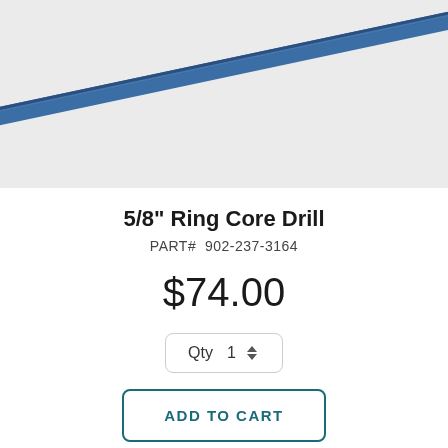[Figure (photo): Product photo of a 5/8 inch ring core drill bit on a light gray background]
5/8" Ring Core Drill
PART#  902-237-3164
$74.00
Qty  1
ADD TO CART